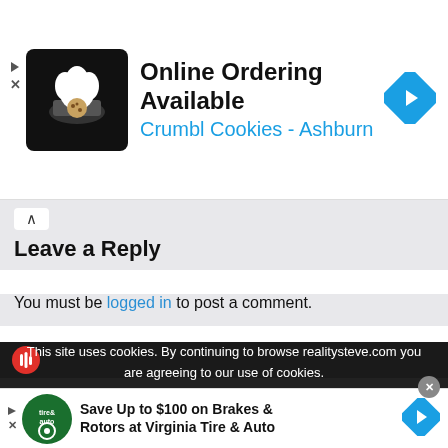[Figure (screenshot): Top advertisement banner for Crumbl Cookies - Ashburn with logo, title 'Online Ordering Available', subtitle 'Crumbl Cookies - Ashburn', navigation arrow icon, and ad controls]
Leave a Reply
You must be logged in to post a comment.
[Figure (screenshot): Dark podcast player bar with red microphone/audio icon]
This site uses cookies. By continuing to browse realitysteve.com you are agreeing to our use of cookies.
Do Not Sell My Personal Information
› Privacy Preferences
[Figure (screenshot): Bottom advertisement banner for Virginia Tire & Auto with logo, title 'Save Up to $100 on Brakes & Rotors at Virginia Tire & Auto', navigation arrow icon, close button, and ad controls]